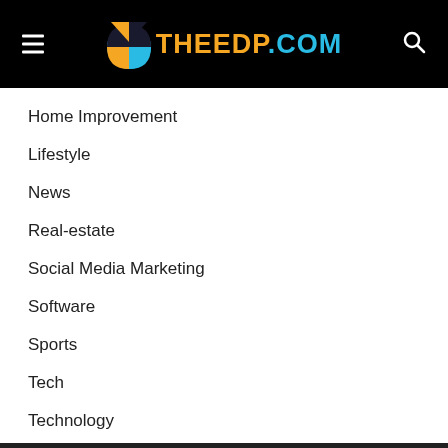THEEDP.COM
Home Improvement
Lifestyle
News
Real-estate
Social Media Marketing
Software
Sports
Tech
Technology
Travel